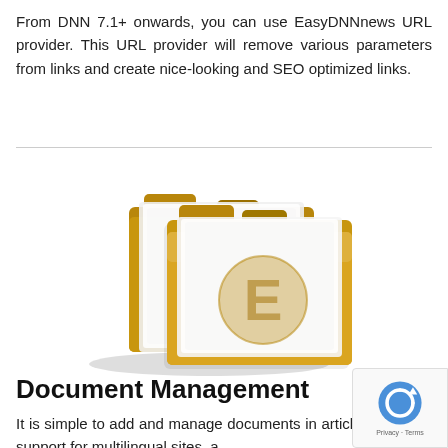From DNN 7.1+ onwards, you can use EasyDNNnews URL provider. This URL provider will remove various parameters from links and create nice-looking and SEO optimized links.
[Figure (illustration): Two yellow folder icons stacked side by side with an 'E' logo embossed on the front folder, representing document/file management.]
Document Management
It is simple to add and manage documents in articles. There is support for multilingual sites, a